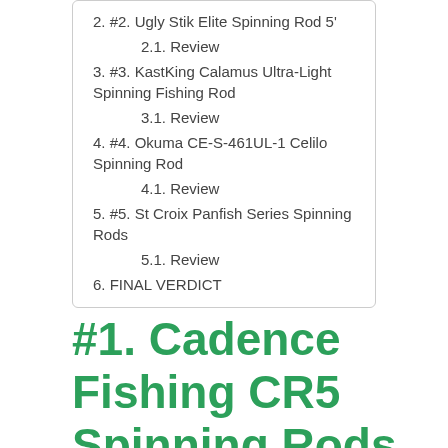2. #2. Ugly Stik Elite Spinning Rod 5'
2.1. Review
3. #3. KastKing Calamus Ultra-Light Spinning Fishing Rod
3.1. Review
4. #4. Okuma CE-S-461UL-1 Celilo Spinning Rod
4.1. Review
5. #5. St Croix Panfish Series Spinning Rods
5.1. Review
6. FINAL VERDICT
#1. Cadence Fishing CR5 Spinning Rods